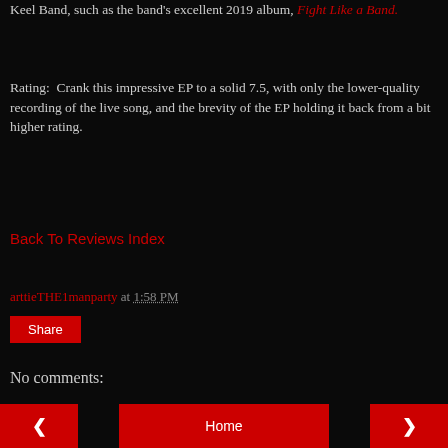Keel Band, such as the band's excellent 2019 album, Fight Like a Band.
Rating: Crank this impressive EP to a solid 7.5, with only the lower-quality recording of the live song, and the brevity of the EP holding it back from a bit higher rating.
Back To Reviews Index
arttieTHE1manparty at 1:58 PM
Share
No comments:
Post a Comment
< Home >